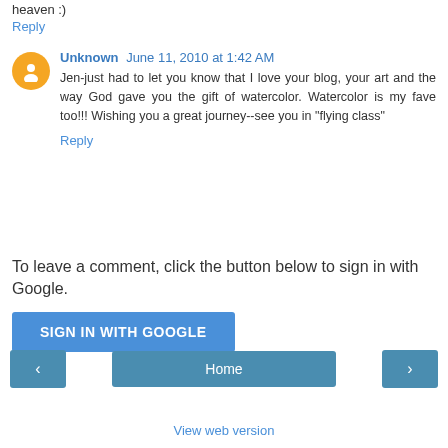heaven :)
Reply
Unknown  June 11, 2010 at 1:42 AM
Jen-just had to let you know that I love your blog, your art and the way God gave you the gift of watercolor. Watercolor is my fave too!!! Wishing you a great journey--see you in "flying class"
Reply
To leave a comment, click the button below to sign in with Google.
SIGN IN WITH GOOGLE
‹
Home
›
View web version